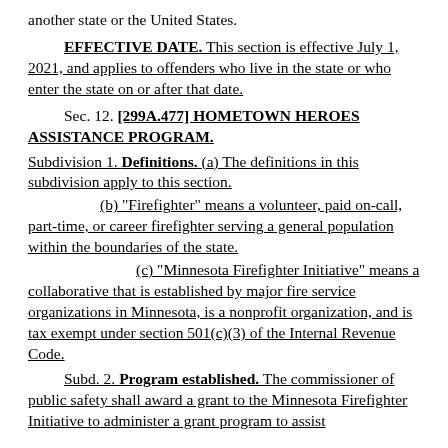another state or the United States.
EFFECTIVE DATE. This section is effective July 1, 2021, and applies to offenders who live in the state or who enter the state on or after that date.
Sec. 12. [299A.477] HOMETOWN HEROES ASSISTANCE PROGRAM.
Subdivision 1. Definitions. (a) The definitions in this subdivision apply to this section.
(b) "Firefighter" means a volunteer, paid on-call, part-time, or career firefighter serving a general population within the boundaries of the state.
(c) "Minnesota Firefighter Initiative" means a collaborative that is established by major fire service organizations in Minnesota, is a nonprofit organization, and is tax exempt under section 501(c)(3) of the Internal Revenue Code.
Subd. 2. Program established. The commissioner of public safety shall award a grant to the Minnesota Firefighter Initiative to administer a grant program to assist...